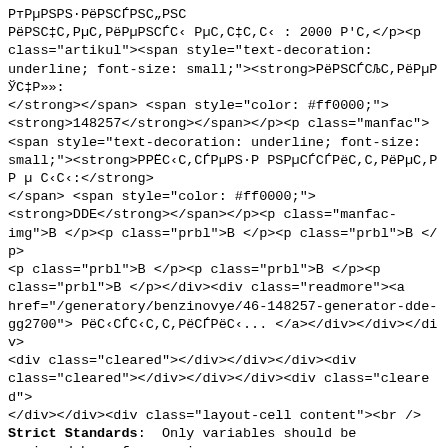РтРµРЅРЅ·РёРЅСЃРЅС„РС‡ Рµ РРё РµРЅСЃСРµРЎС‡ РІР·Су РЅРёРСЃРµС,РµРЅСЃС‡С,СС : 2000 Р'С,</p><p class="artikul"><span style="text-decoration: underline; font-size: small;"><strong>РёРЅСЃСЉС,РёРµРЎС‡Р»»:</strong></span> <span style="color: #ff0000;"><strong>148257</strong></span></p><p class="manfac"><span style="text-decoration: underline; font-size: small;"><strong>Р РСС,СЃРµРЅ·Р РЅРµСЃСЃРёС,С,РёРµС,Р РРµ ССС:</strong></span> <span style="color: #ff0000;"><strong>DDE</strong></span></p><p class="manfac-img">В </p><p class="prbl">В </p><p class="prbl">В </p><p class="prbl">В </p><p class="prbl">В </p><p class="prbl">В </p></div><div class="readmore"><a href="/generatory/benzinovye/46-148257-generator-dde-gg2700"> РёССЃСС,С,РёСЃРёС... </a></div></div></div><div class="cleared"></div></div></div><div class="cleared"></div></div></div><div class="cleared"></div></div><div class="layout-cell content"><br /><b>Strict Standards</b>:  Only variables should be assigned by reference in <b>/var/www/u0355379/data/www/generatory-nn.ru/templates/generatorynn/functions.php</b> on line <b>614</b><br /><div class="box post"><div class="box-body post-body"><div class="post-inner"><div class="postcontent"><div class="breadcrumbs"> <a href="/" class="pathway">Р'РёРµР°Р РРёСЃРµ СС</a> <img src="/media/system/images/arrow.png" alt=""  /> <a href="/generatory" class="pathway">Р'Р РССЃРёССС,С,РРµ СССС‡</a> <img src="/media/system/images/arrow.png" alt=""  /> <a